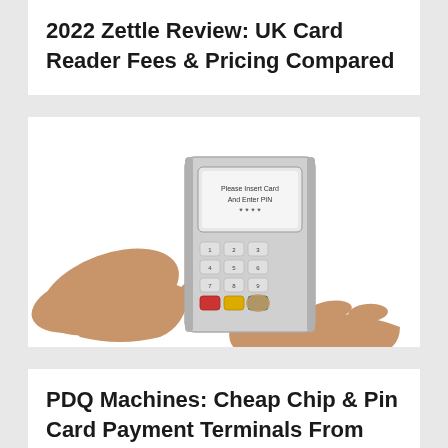2022 Zettle Review: UK Card Reader Fees & Pricing Compared
[Figure (photo): Two hands holding a card payment terminal (PDQ machine). One hand grips the device from the back while the other presses buttons on the keypad. A credit/debit card is being inserted at the bottom. The terminal screen reads 'Please Insert Card And Enter PIN ****'.]
PDQ Machines: Cheap Chip & Pin Card Payment Terminals From £19